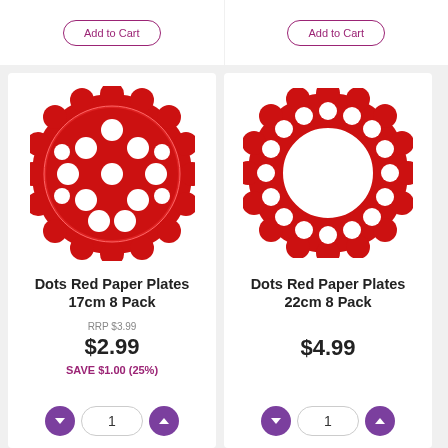[Figure (other): Add to Cart button for product above (left column)]
[Figure (other): Add to Cart button for product above (right column)]
[Figure (illustration): Red paper plate with white polka dots, 17cm size, filled center]
Dots Red Paper Plates 17cm 8 Pack
RRP $3.99
$2.99
SAVE $1.00 (25%)
[Figure (illustration): Red paper plate with white polka dots on rim, 22cm size, open center]
Dots Red Paper Plates 22cm 8 Pack
$4.99